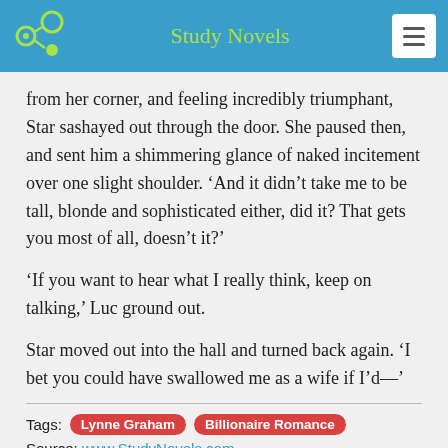Study Novels
from her corner, and feeling incredibly triumphant, Star sashayed out through the door. She paused then, and sent him a shimmering glance of naked incitement over one slight shoulder. ‘And it didn’t take me to be tall, blonde and sophisticated either, did it? That gets you most of all, doesn’t it?’
‘If you want to hear what I really think, keep on talking,’ Luc ground out.
Star moved out into the hall and turned back again. ‘I bet you could have swallowed me as a wife if I’d—’
Tags: Lynne Graham  Billionaire Romance
Source: www.StudyNovels.com